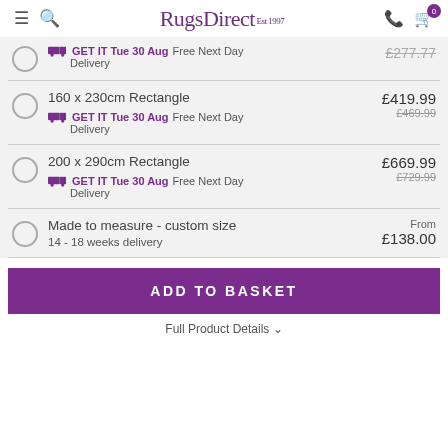RugsDirect Est 1997
GET IT Tue 30 Aug  Free Next Day Delivery  £277.77
160 x 230cm Rectangle  £419.99  £469.99  GET IT Tue 30 Aug  Free Next Day Delivery
200 x 290cm Rectangle  £669.99  £729.99  GET IT Tue 30 Aug  Free Next Day Delivery
Made to measure - custom size  14 - 18 weeks delivery  From £138.00
ADD TO BASKET
Full Product Details